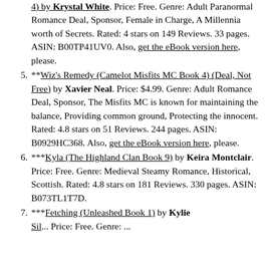4) by Krystal White. Price: Free. Genre: Adult Paranormal Romance Deal, Sponsor, Female in Charge, A Millennia worth of Secrets. Rated: 4 stars on 149 Reviews. 33 pages. ASIN: B00TP41UV0. Also, get the eBook version here, please.
5. **Wiz's Remedy (Camelot Misfits MC Book 4) (Deal, Not Free) by Xavier Neal. Price: $4.99. Genre: Adult Romance Deal, Sponsor, The Misfits MC is known for maintaining the balance, Providing common ground, Protecting the innocent. Rated: 4.8 stars on 51 Reviews. 244 pages. ASIN: B0929HC368. Also, get the eBook version here, please.
6. ***Kyla (The Highland Clan Book 9) by Keira Montclair. Price: Free. Genre: Medieval Steamy Romance, Historical, Scottish. Rated: 4.8 stars on 181 Reviews. 330 pages. ASIN: B073TL1T7D.
7. ***Fetching (Unleashed Book 1) by Kylie ...